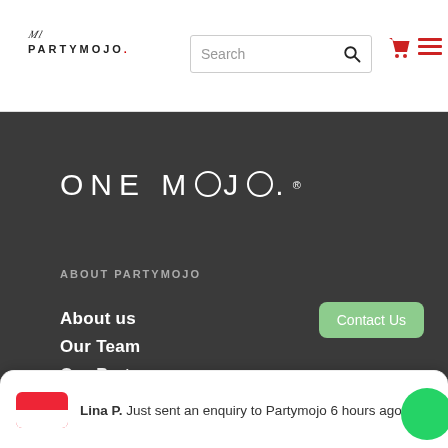[Figure (logo): PartyMojo logo with stylized script text and brand name]
[Figure (logo): ONE MOJO registered trademark logo in white on dark background]
ABOUT PARTYMOJO
About us
Our Team
Our Partners
Our CSR
Blog
Privacy Policy
Contact Us
Lina P. Just sent an enquiry to Partymojo 6 hours ago